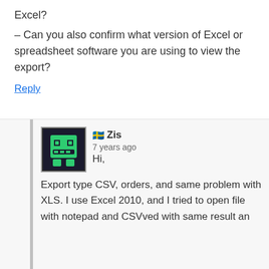Excel?
– Can you also confirm what version of Excel or spreadsheet software you are using to view the export?
Reply
[Figure (illustration): Pixel art avatar of a green monster/robot face on dark background]
🇸🇪 Zis
7 years ago
Hi,
Export type CSV, orders, and same problem with XLS. I use Excel 2010, and I tried to open file with notepad and CSVved with same result an